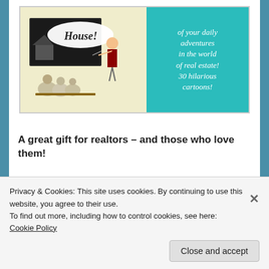[Figure (illustration): Book cover showing a cartoon of a teacher pointing at a chalkboard with 'House!' written on it, with animal students sitting at desks. Right side has teal background with italic white text reading 'of your daily adventures in the world of real estate! 30 hilarious cartoons!']
A great gift for realtors – and those who love them!
https://www.amazon.com/Real-Estate-Cartoon-Notebook/dp/1726090248
Privacy & Cookies: This site uses cookies. By continuing to use this website, you agree to their use.
To find out more, including how to control cookies, see here: Cookie Policy
Close and accept